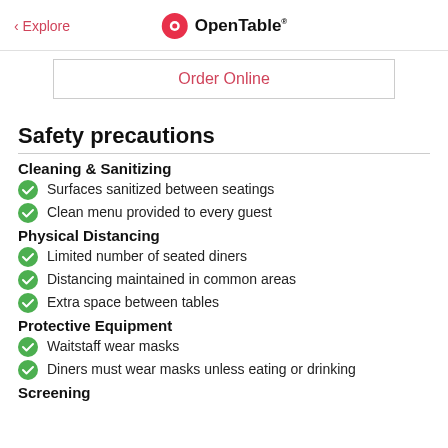< Explore   OpenTable
Order Online
Safety precautions
Cleaning & Sanitizing
Surfaces sanitized between seatings
Clean menu provided to every guest
Physical Distancing
Limited number of seated diners
Distancing maintained in common areas
Extra space between tables
Protective Equipment
Waitstaff wear masks
Diners must wear masks unless eating or drinking
Screening